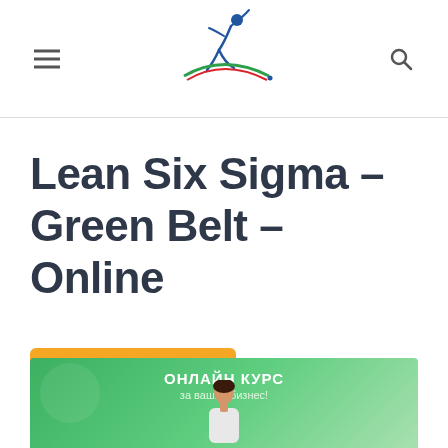Navigation header with hamburger menu, logo, and search icon
Lean Six Sigma – Green Belt – Online
prices are in BGN / лв.
[Figure (photo): Green banner image showing online course advertisement with text 'ОНЛАЙН КУРС за вашия бизнес!' and a woman's photo]